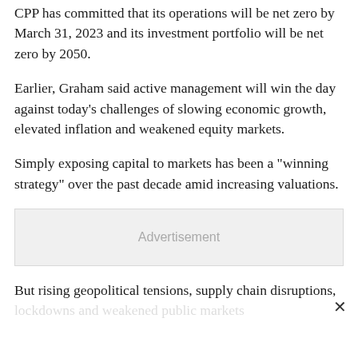CPP has committed that its operations will be net zero by March 31, 2023 and its investment portfolio will be net zero by 2050.
Earlier, Graham said active management will win the day against today's challenges of slowing economic growth, elevated inflation and weakened equity markets.
Simply exposing capital to markets has been a "winning strategy" over the past decade amid increasing valuations.
[Figure (other): Advertisement placeholder box]
But rising geopolitical tensions, supply chain disruptions, lockdowns and weakened public markets